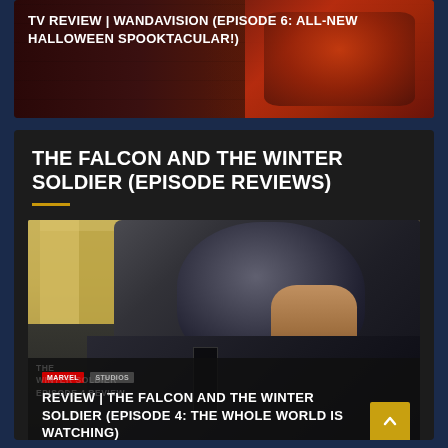[Figure (screenshot): TV Review thumbnail for WandaVision Episode 6: All-New Halloween Spooktacular with dark reddish background]
TV REVIEW | WANDAVISION (EPISODE 6: ALL-NEW HALLOWEEN SPOOKTACULAR!)
THE FALCON AND THE WINTER SOLDIER (EPISODE REVIEWS)
[Figure (photo): Photo of a character in Captain America / New Captain America helmet and dark tactical suit, looking down, with blurred yellow building in background]
REVIEW | THE FALCON AND THE WINTER SOLDIER (EPISODE 4: THE WHOLE WORLD IS WATCHING)